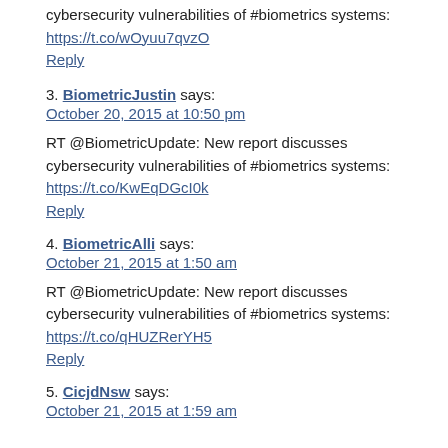cybersecurity vulnerabilities of #biometrics systems: https://t.co/wOyuu7qvzO
Reply
3. BiometricJustin says: October 20, 2015 at 10:50 pm
RT @BiometricUpdate: New report discusses cybersecurity vulnerabilities of #biometrics systems: https://t.co/KwEqDGcI0k
Reply
4. BiometricAlli says: October 21, 2015 at 1:50 am
RT @BiometricUpdate: New report discusses cybersecurity vulnerabilities of #biometrics systems: https://t.co/qHUZRerYH5
Reply
5. CicjdNsw says: October 21, 2015 at 1:59 am